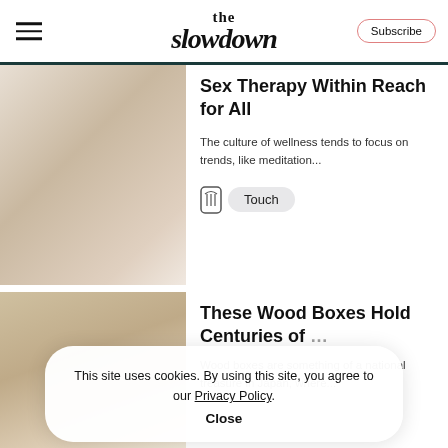the slowdown
Sex Therapy Within Reach for All
The culture of wellness tends to focus on trends, like meditation...
Touch
These Wood Boxes Hold Centuries of
Wood boxes are something of a national treasure in Japan, where...
This site uses cookies. By using this site, you agree to our Privacy Policy. Close